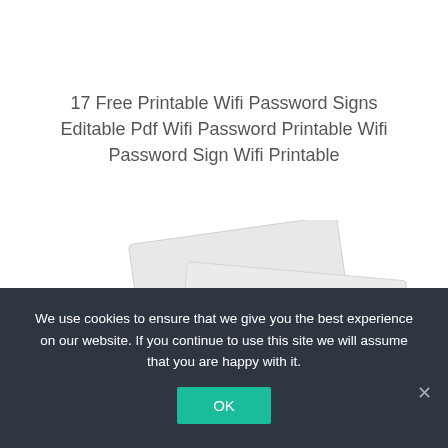17 Free Printable Wifi Password Signs Editable Pdf Wifi Password Printable Wifi Password Sign Wifi Printable
[Figure (illustration): Two overlapping light grey document/card shapes shown at an angle, suggesting printable signs or pages.]
We use cookies to ensure that we give you the best experience on our website. If you continue to use this site we will assume that you are happy with it.